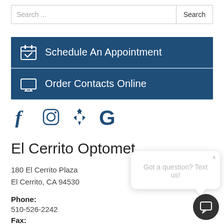Search ...
Search
Schedule An Appointment
Order Contacts Online
[Figure (infographic): Social media icons: Facebook, Instagram, Yelp, Google]
El Cerrito Optometry
180 El Cerrito Plaza
El Cerrito, CA 94530
Phone:
510-526-2242
Fax:
844-273-3112
Got a question? Text us!